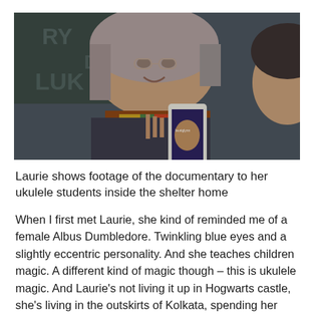[Figure (photo): A woman with grey-blonde hair and glasses smiles while holding up a smartphone showing footage of a documentary. She wears a colorful scarf. Another person is partially visible to the right. A chalkboard with writing is in the background.]
Laurie shows footage of the documentary to her ukulele students inside the shelter home
When I first met Laurie, she kind of reminded me of a female Albus Dumbledore. Twinkling blue eyes and a slightly eccentric personality. And she teaches children magic. A different kind of magic though – this is ukulele magic. And Laurie's not living it up in Hogwarts castle, she's living in the outskirts of Kolkata, spending her days